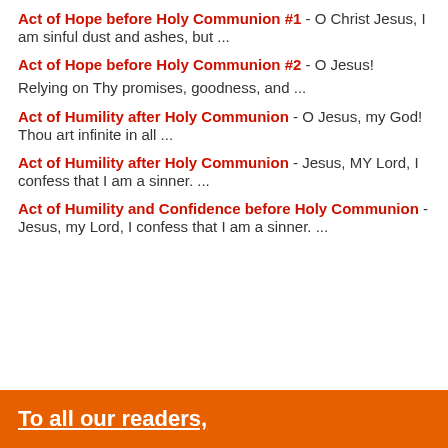Act of Hope before Holy Communion #1 - O Christ Jesus, I am sinful dust and ashes, but ...
Act of Hope before Holy Communion #2 - O Jesus! Relying on Thy promises, goodness, and ...
Act of Humility after Holy Communion - O Jesus, my God! Thou art infinite in all ...
Act of Humility after Holy Communion - Jesus, MY Lord, I confess that I am a sinner. ...
Act of Humility and Confidence before Holy Communion - Jesus, my Lord, I confess that I am a sinner. ...
To all our readers,